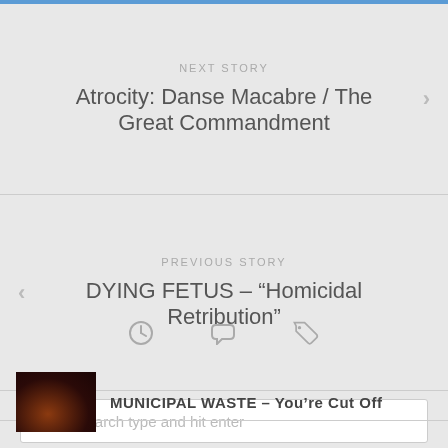NEXT STORY
Atrocity: Danse Macabre / The Great Commandment
PREVIOUS STORY
DYING FETUS – “Homicidal Retribution”
To search type and hit enter
[Figure (other): Clock icon and tag/label icon row]
MUNICIPAL WASTE – You’re Cut Off